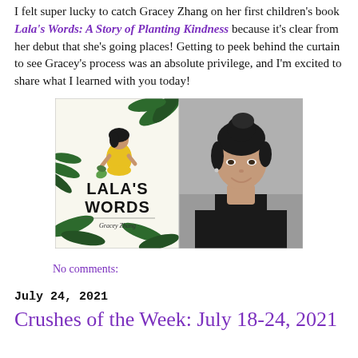I felt super lucky to catch Gracey Zhang on her first children's book Lala's Words: A Story of Planting Kindness because it's clear from her debut that she's going places! Getting to peek behind the curtain to see Gracey's process was an absolute privilege, and I'm excited to share what I learned with you today!
[Figure (photo): Book cover of Lala's Words by Gracey Zhang showing a girl in yellow dress planting, surrounded by dark green tropical leaves, with the title text in bold black letters and author name below]
[Figure (photo): Headshot photo of Gracey Zhang, a young Asian woman with dark hair in an updo, smiling, wearing a black top, against a gray background]
No comments:
July 24, 2021
Crushes of the Week: July 18-24, 2021